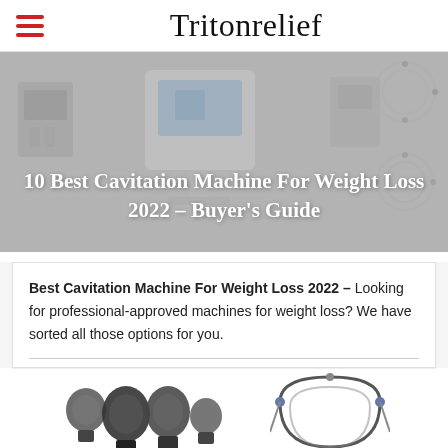Tritonrelief
[Figure (photo): Hero banner showing cavitation machines for weight loss with overlay text: 10 Best Cavitation Machine For Weight Loss 2022 – Buyer's Guide]
10 Best Cavitation Machine For Weight Loss 2022 – Buyer's Guide
Best Cavitation Machine For Weight Loss 2022 – Looking for professional-approved machines for weight loss? We have sorted all those options for you.
[Figure (photo): Product images of cavitation machine attachments/probes at bottom of page]